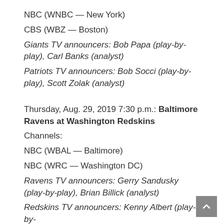NBC (WNBC — New York)
CBS (WBZ — Boston)
Giants TV announcers: Bob Papa (play-by-play), Carl Banks (analyst)
Patriots TV announcers: Bob Socci (play-by-play), Scott Zolak (analyst)
Thursday, Aug. 29, 2019 7:30 p.m.: Baltimore Ravens at Washington Redskins
Channels:
NBC (WBAL — Baltimore)
NBC (WRC — Washington DC)
Ravens TV announcers: Gerry Sandusky (play-by-play), Brian Billick (analyst)
Redskins TV announcers: Kenny Albert (play-by-